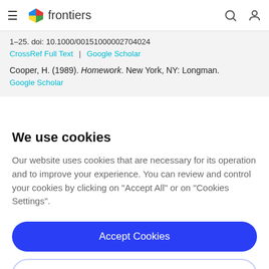frontiers
1–25. doi: 10.1000/00151000002704024
CrossRef Full Text | Google Scholar
Cooper, H. (1989). Homework. New York, NY: Longman.
Google Scholar
We use cookies
Our website uses cookies that are necessary for its operation and to improve your experience. You can review and control your cookies by clicking on "Accept All" or on "Cookies Settings".
Accept Cookies
Cookies Settings